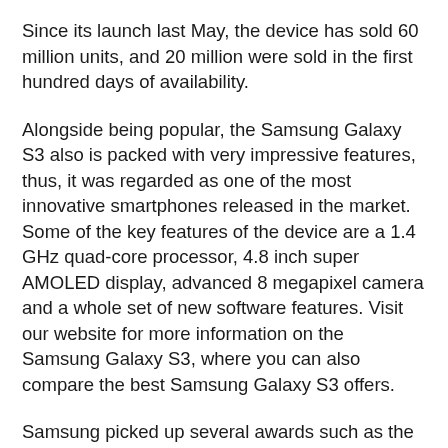Since its launch last May, the device has sold 60 million units, and 20 million were sold in the first hundred days of availability.
Alongside being popular, the Samsung Galaxy S3 also is packed with very impressive features, thus, it was regarded as one of the most innovative smartphones released in the market. Some of the key features of the device are a 1.4 GHz quad-core processor, 4.8 inch super AMOLED display, advanced 8 megapixel camera and a whole set of new software features. Visit our website for more information on the Samsung Galaxy S3, where you can also compare the best Samsung Galaxy S3 offers.
Samsung picked up several awards such as the ‘best mobile infrastructure’, ‘device manufacturer of the year’ and the ‘outstanding overall mobile technology’. Google Nexus 7 also received notable awards such as the best mobile tablet. The Nokia Asha 305, on the other hand was given the recognition